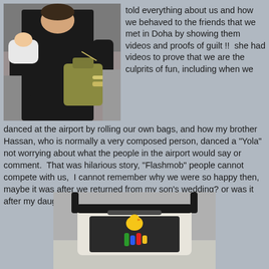[Figure (photo): Woman in black outfit holding a baby and a large olive/gold handbag at an airport]
told everything about us and how we behaved to the friends that we met in Doha by showing them videos and proofs of guilt !!  she had videos to prove that we are the culprits of fun, including when we danced at the airport by rolling our own bags, and how my brother Hassan, who is normally a very composed person, danced a "Yola" not worrying about what the people in the airport would say or comment.  That was hilarious story, "Flashmob" people cannot compete with us,  I cannot remember why we were so happy then, maybe it was after we returned from my son's wedding? or was it after my daughter's wedding? God knows.
[Figure (photo): Baby stroller/pram with colorful toy attachments, viewed from the front, at an airport]